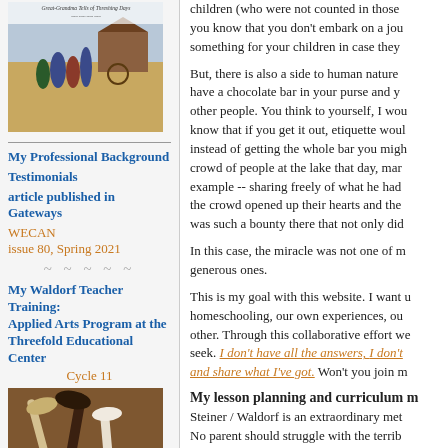[Figure (illustration): Book cover: Great-Grandma Tells of Threshing Days, showing farm scene with people]
My Professional Background
Testimonials
article published in Gateways WECAN issue 80, Spring 2021
My Waldorf Teacher Training: Applied Arts Program at the Threefold Educational Center Cycle 11
[Figure (photo): Photo of spinning wool/fiber tools and yarn in a basket]
children (who were not counted in those you know that you don't embark on a journey something for your children in case they
But, there is also a side to human nature have a chocolate bar in your purse and y other people. You think to yourself, I wou know that if you get it out, etiquette woul instead of getting the whole bar you migh crowd of people at the lake that day, mar example -- sharing freely of what he had the crowd opened up their hearts and the was such a bounty there that not only did
In this case, the miracle was not one of m generous ones.
This is my goal with this website. I want u homeschooling, our own experiences, ou other. Through this collaborative effort we seek. I don't have all the answers, I don't and share what I've got. Won't you join m
My lesson planning and curriculum m
Steiner / Waldorf is an extraordinary met No parent should struggle with the terrib them from giving their children everything
Simply put, these are the most important. There should be no obstacles to that.
I personally may not be able to change th homeschool materials affordable, to help